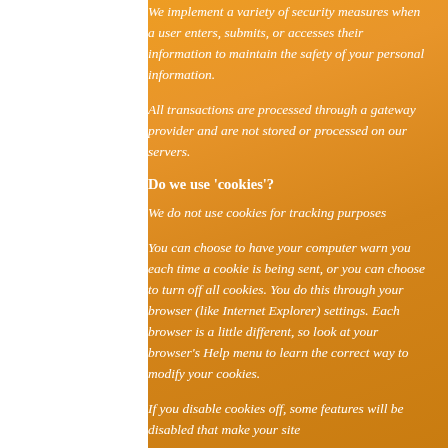We implement a variety of security measures when a user enters, submits, or accesses their information to maintain the safety of your personal information.
All transactions are processed through a gateway provider and are not stored or processed on our servers.
Do we use 'cookies'?
We do not use cookies for tracking purposes
You can choose to have your computer warn you each time a cookie is being sent, or you can choose to turn off all cookies. You do this through your browser (like Internet Explorer) settings. Each browser is a little different, so look at your browser's Help menu to learn the correct way to modify your cookies.
If you disable cookies off, some features will be disabled that make your site